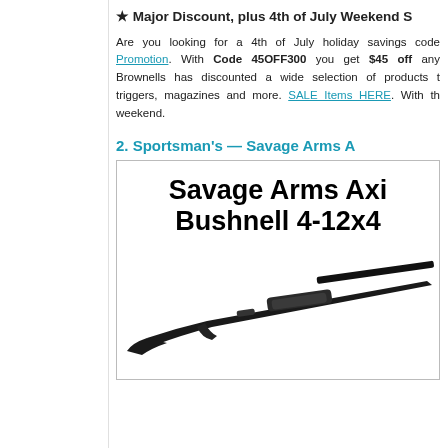★ Major Discount, plus 4th of July Weekend S…
Are you looking for a 4th of July holiday savings code… Promotion. With Code 45OFF300 you get $45 off any… Brownells has discounted a wide selection of products t… triggers, magazines and more. SALE Items HERE. With th… weekend.
2. Sportsman's — Savage Arms A…
[Figure (photo): Advertisement showing 'Savage Arms Axi… Bushnell 4-12x4…' with a photo of a rifle with scope]